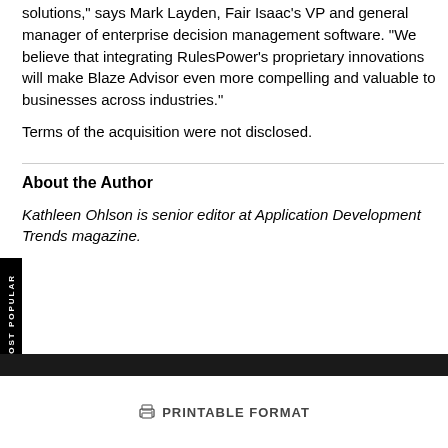solutions," says Mark Layden, Fair Isaac's VP and general manager of enterprise decision management software. "We believe that integrating RulesPower's proprietary innovations will make Blaze Advisor even more compelling and valuable to businesses across industries."
Terms of the acquisition were not disclosed.
About the Author
Kathleen Ohlson is senior editor at Application Development Trends magazine.
PRINTABLE FORMAT